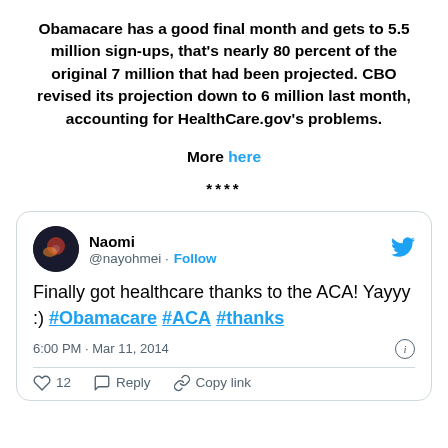Obamacare has a good final month and gets to 5.5 million sign-ups, that's nearly 80 percent of the original 7 million that had been projected. CBO revised its projection down to 6 million last month, accounting for HealthCare.gov's problems.
More here
****
[Figure (screenshot): Embedded tweet from @nayohmei (Naomi) reading: 'Finally got healthcare thanks to the ACA! Yayyy :) #Obamacare #ACA #thanks' posted at 6:00 PM · Mar 11, 2014. Shows 12 likes, Reply and Copy link actions.]